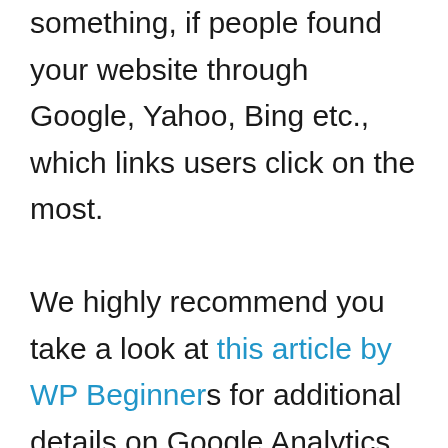something, if people found your website through Google, Yahoo, Bing etc., which links users click on the most.

We highly recommend you take a look at this article by WP Beginners for additional details on Google Analytics and the impact in can have in boosting your